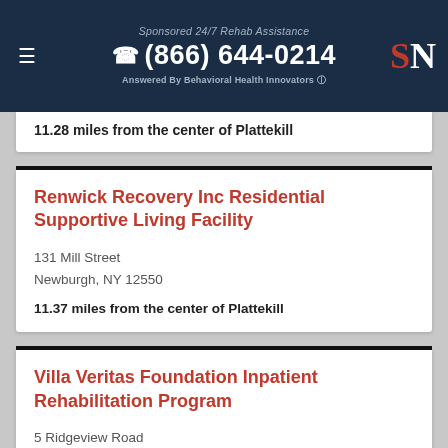Sponsored 24/7 Rehab Assistance | (866) 644-0214 | Answered By Behavioral Health Innovators
11.28 miles from the center of Plattekill
Renwick Recovery Inc Residential Supportive Living Facility
131 Mill Street
Newburgh, NY 12550
11.37 miles from the center of Plattekill
Villa Veritas Foundation Inpatient Rehabilitation Program
5 Ridgeview Road